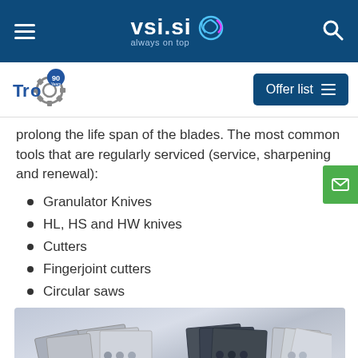vsi.si always on top
[Figure (logo): Tro 90 years logo with gear icon]
prolong the life span of the blades. The most common tools that are regularly serviced (service, sharpening and renewal):
Granulator Knives
HL, HS and HW knives
Cutters
Fingerjoint cutters
Circular saws
[Figure (photo): Photo of metal cutting blades and knives arranged on a light blue/grey background]